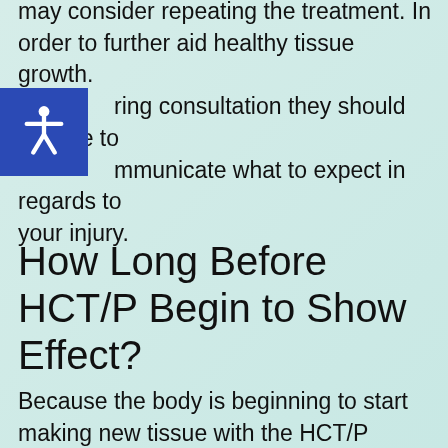may consider repeating the treatment. In order to further aid healthy tissue growth. ring consultation they should be able to mmunicate what to expect in regards to your injury.
How Long Before HCT/P Begin to Show Effect?
Because the body is beginning to start making new tissue with the HCT/P injections, it will take some time for treatment to start working. Some patients have described a dramatic reduction in pain levels in a few as a couple months. Other patients have